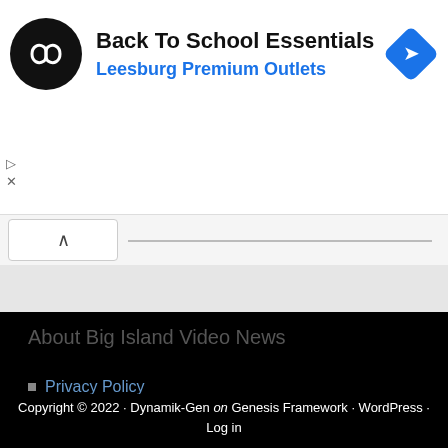[Figure (screenshot): Advertisement banner for Back To School Essentials at Leesburg Premium Outlets with a circular black logo with infinity-like symbol and a blue navigation diamond icon]
Back To School Essentials
Leesburg Premium Outlets
About Big Island Video News
Privacy Policy
Search this website
Copyright © 2022 · Dynamik-Gen on Genesis Framework · WordPress · Log in